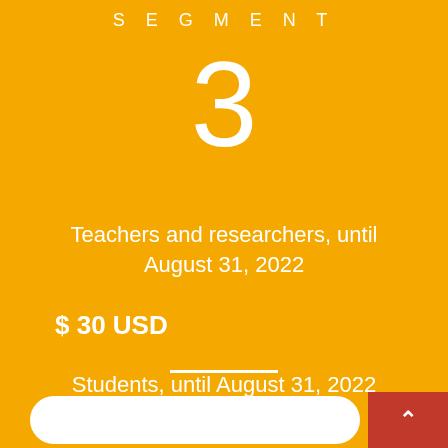SEGMENT
3
Teachers and researchers, until August 31, 2022
$ 30 USD
Students, until August 31, 2022
$ 20 USD